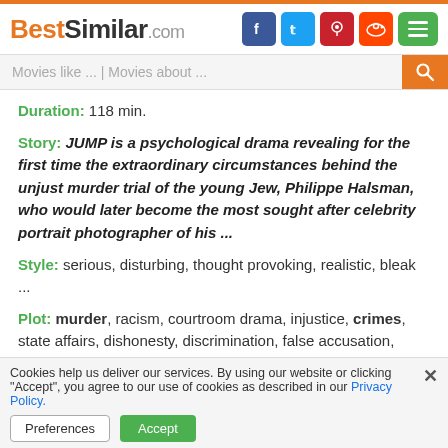BestSimilar.com
Movies like ... | Movies about ...
Duration: 118 min.
Story: JUMP is a psychological drama revealing for the first time the extraordinary circumstances behind the unjust murder trial of the young Jew, Philippe Halsman, who would later become the most sought after celebrity portrait photographer of his ...
Style: serious, disturbing, thought provoking, realistic, bleak ...
Plot: murder, racism, courtroom drama, injustice, crimes, state affairs, dishonesty, discrimination, false accusation, righting the wronged, power relations, confined ...
Time: 1920s
Place: austria, alps
Cookies help us deliver our services. By using our website or clicking "Accept", you agree to our use of cookies as described in our Privacy Policy.